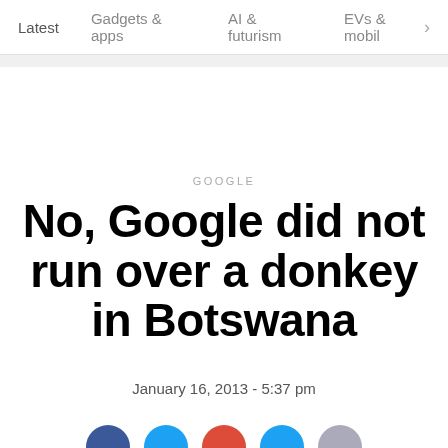Latest   Gadgets & apps   AI & futurism   EVs & mobil >
GOOGLE
No, Google did not run over a donkey in Botswana
January 16, 2013 - 5:37 pm